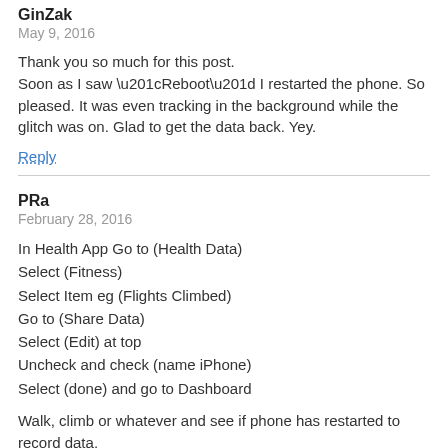GinZak
May 9, 2016
Thank you so much for this post. Soon as I saw “Reboot” I restarted the phone. So pleased. It was even tracking in the background while the glitch was on. Glad to get the data back. Yey.
Reply
PRa
February 28, 2016
In Health App Go to (Health Data)
Select (Fitness)
Select Item eg (Flights Climbed)
Go to (Share Data)
Select (Edit) at top
Uncheck and check (name iPhone)
Select (done) and go to Dashboard
Walk, climb or whatever and see if phone has restarted to record data.
(Last post was missing some bracketed items)
Reply